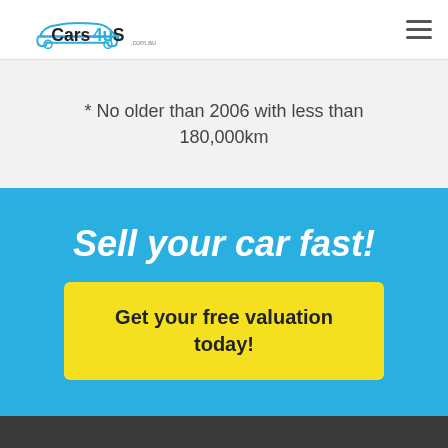Cars4uS.com.au
* No older than 2006 with less than 180,000km
Sell your car fast!
Get your free valuation today!